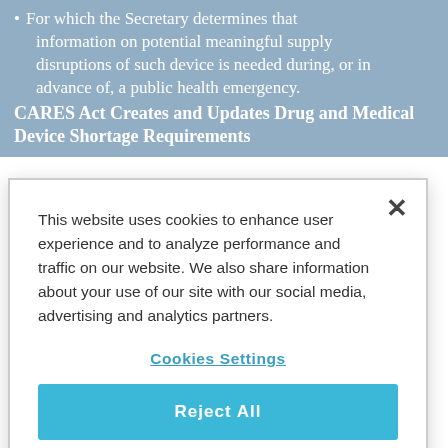For which the Secretary determines that information on potential meaningful supply disruptions of such device is needed during, or in advance of, a public health emergency.
CARES Act Creates and Updates Drug and Medical Device Shortage Requirements
While section 506C of the FD&C Act applied to drugs and biologics, the CARES Act made section
This website uses cookies to enhance user experience and to analyze performance and traffic on our website. We also share information about your use of our site with our social media, advertising and analytics partners.
Cookies Settings
Reject All
Accept Cookies